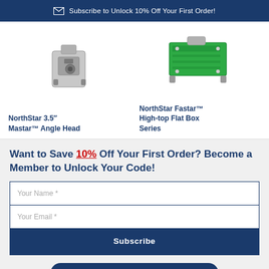Subscribe to Unlock 10% Off Your First Order!
[Figure (photo): NorthStar 3.5" Mastar Angle Head product image - metallic grey equipment]
NorthStar 3.5" Mastar™ Angle Head
[Figure (photo): NorthStar Fastar High-top Flat Box Series product image - green equipment]
NorthStar Fastar™ High-top Flat Box Series
Want to Save 10% Off Your First Order? Become a Member to Unlock Your Code!
Your Name *
Your Email *
Subscribe
NO THANKS, I DONT LIKE DISCOUNTS